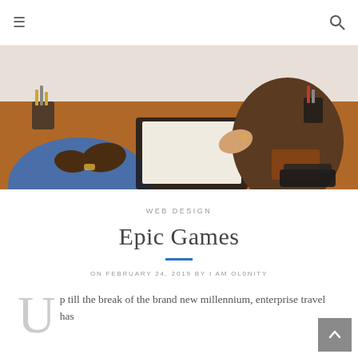≡  🔍
[Figure (photo): Two people at a wooden desk in an office setting, hands visible, with stationery items, a folder, and a stapler on the desk.]
WEB DESIGN
Epic Games
ON FEBRUARY 24, 2019 BY I AM OL0NITY
p till the break of the brand new millennium, enterprise travel has